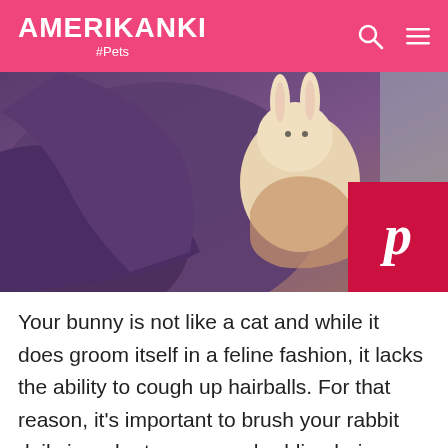AMERIKANKI #Pets
[Figure (photo): Person in a purple/maroon hoodie holding a small white and tan rabbit/bunny]
Your bunny is not like a cat and while it does groom itself in a feline fashion, it lacks the ability to cough up hairballs. For that reason, it's important to brush your rabbit daily in order to remove shedding hair. Shedding will be heavier at certain times of year so it's particularly important to make sure your rabbit is getting all the brushing it needs. Also, you or your veterinarian will have to make sure the rabbit's nails are maintained and cut regularly.